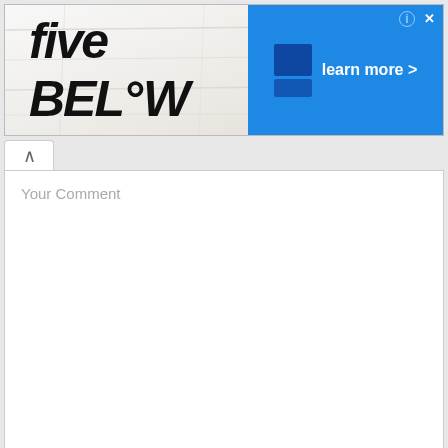[Figure (screenshot): Five Below advertisement banner with logo on left and blue 'learn more >' button on right]
^
Your Comment
Your Name *
Your Email *
X Your Website
[Figure (screenshot): Mobile game advertisement with orange background, 'Love this game Can't stop playing!' text, green 'Download Now' button, and 'Bubble Shooter Animal World' label]